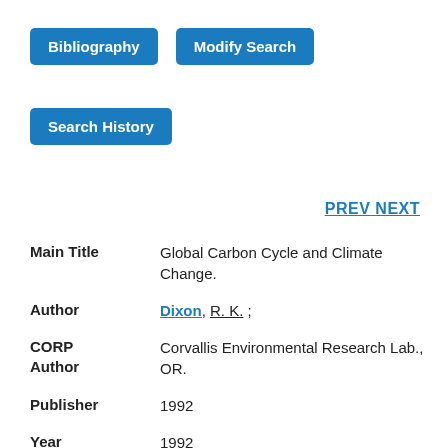Bibliography | Modify Search
Search History
PREV NEXT
| Field | Value |
| --- | --- |
| Main Title | Global Carbon Cycle and Climate Change. |
| Author | Dixon, R. K. ; |
| CORP Author | Corvallis Environmental Research Lab., OR. |
| Publisher | 1992 |
| Year Published | 1992 |
| Report |  |